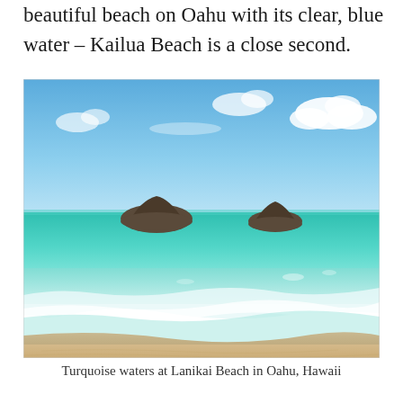beautiful beach on Oahu with its clear, blue water – Kailua Beach is a close second.
[Figure (photo): Turquoise and clear shallow waters of Lanikai Beach in Oahu, Hawaii, with two small rocky island mounds visible on the horizon, sandy shore in foreground, blue sky with white clouds above.]
Turquoise waters at Lanikai Beach in Oahu, Hawaii